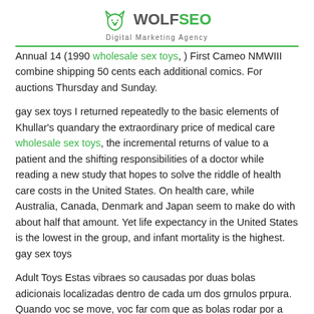WOLF SEO Digital Marketing Agency
Annual 14 (1990 wholesale sex toys, ) First Cameo NMWIII combine shipping 50 cents each additional comics. For auctions Thursday and Sunday.
gay sex toys I returned repeatedly to the basic elements of Khullar's quandary the extraordinary price of medical care wholesale sex toys, the incremental returns of value to a patient and the shifting responsibilities of a doctor while reading a new study that hopes to solve the riddle of health care costs in the United States. On health care, while Australia, Canada, Denmark and Japan seem to make do with about half that amount. Yet life expectancy in the United States is the lowest in the group, and infant mortality is the highest. gay sex toys
Adult Toys Estas vibraes so causadas por duas bolas adicionais localizadas dentro de cada um dos grnulos prpura. Quando voc se move, voc far com que as bolas rodar por a